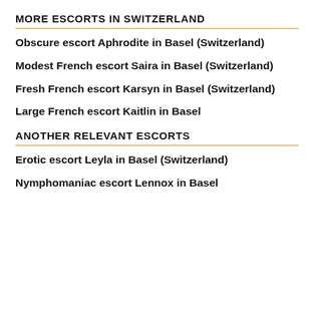MORE ESCORTS IN SWITZERLAND
Obscure escort Aphrodite in Basel (Switzerland)
Modest French escort Saira in Basel (Switzerland)
Fresh French escort Karsyn in Basel (Switzerland)
Large French escort Kaitlin in Basel
ANOTHER RELEVANT ESCORTS
Erotic escort Leyla in Basel (Switzerland)
Nymphomaniac escort Lennox in Basel